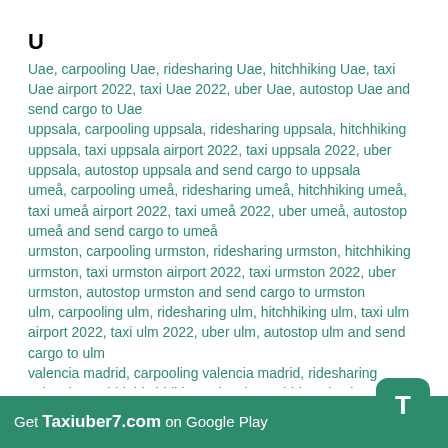U
Uae, carpooling Uae, ridesharing Uae, hitchhiking Uae, taxi Uae airport 2022, taxi Uae 2022, uber Uae, autostop Uae and send cargo to Uae
uppsala, carpooling uppsala, ridesharing uppsala, hitchhiking uppsala, taxi uppsala airport 2022, taxi uppsala 2022, uber uppsala, autostop uppsala and send cargo to uppsala
umeå, carpooling umeå, ridesharing umeå, hitchhiking umeå, taxi umeå airport 2022, taxi umeå 2022, uber umeå, autostop umeå and send cargo to umeå
urmston, carpooling urmston, ridesharing urmston, hitchhiking urmston, taxi urmston airport 2022, taxi urmston 2022, uber urmston, autostop urmston and send cargo to urmston
ulm, carpooling ulm, ridesharing ulm, hitchhiking ulm, taxi ulm airport 2022, taxi ulm 2022, uber ulm, autostop ulm and send cargo to ulm
valencia madrid, carpooling valencia madrid, ridesharing valencia madrid, hitchhiking valencia madrid, taxi valencia madrid airport 2022, taxi valencia madrid 2022, uber valencia madrid, autostop valencia madrid and send cargo to valencia madrid
Get Taxiuber7.com on Google Play